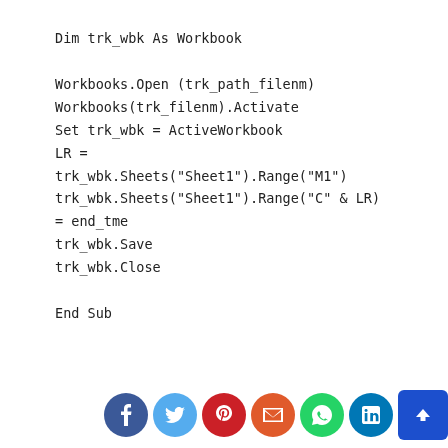Dim trk_wbk As Workbook

Workbooks.Open (trk_path_filenm)
Workbooks(trk_filenm).Activate
Set trk_wbk = ActiveWorkbook
LR =
trk_wbk.Sheets("Sheet1").Range("M1")
trk_wbk.Sheets("Sheet1").Range("C" & LR)
= end_tme
trk_wbk.Save
trk_wbk.Close

End Sub